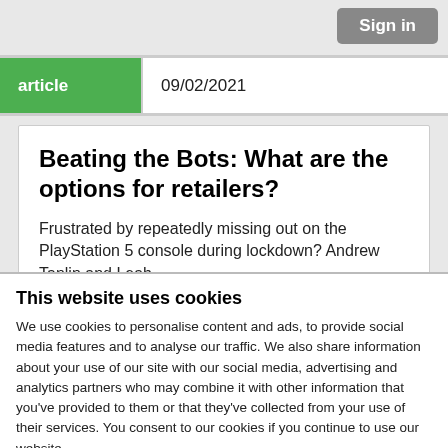Sign in
| article | 09/02/2021 |
| --- | --- |
Beating the Bots: What are the options for retailers?
Frustrated by repeatedly missing out on the PlayStation 5 console during lockdown? Andrew Tanlin and Leah
This website uses cookies
We use cookies to personalise content and ads, to provide social media features and to analyse our traffic. We also share information about your use of our site with our social media, advertising and analytics partners who may combine it with other information that you've provided to them or that they've collected from your use of their services. You consent to our cookies if you continue to use our website.
OK
Necessary   Preferences   Statistics   Show details
Marketing